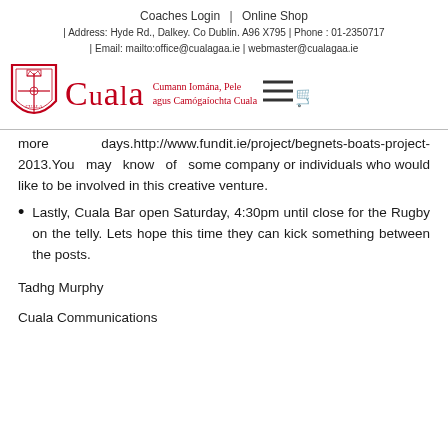Coaches Login | Online Shop
| Address: Hyde Rd., Dalkey. Co Dublin. A96 X795 | Phone : 01-2350717 | Email: mailto:office@cualagaa.ie | webmaster@cualagaa.ie
[Figure (logo): Cuala GAA logo with shield emblem, Cuala text in red, Irish language text and shopping cart icon]
more days.http://www.fundit.ie/project/begnets-boats-project-2013.You may know of some company or individuals who would like to be involved in this creative venture.
Lastly, Cuala Bar open Saturday, 4:30pm until close for the Rugby on the telly. Lets hope this time they can kick something between the posts.
Tadhg Murphy
Cuala Communications